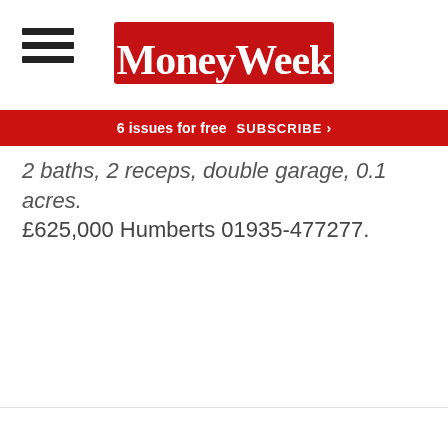MoneyWeek
6 issues for free  SUBSCRIBE >
2 baths, 2 receps, double garage, 0.1 acres. £625,000 Humberts 01935-477277.